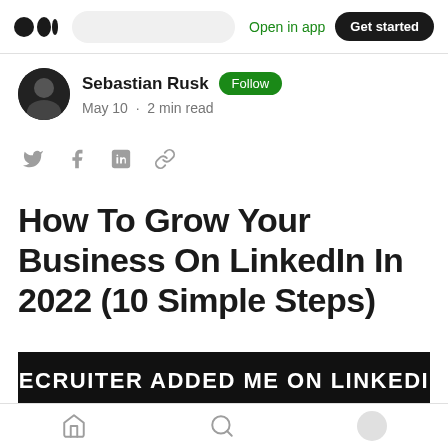Open in app  Get started
Sebastian Rusk · Follow
May 10 · 2 min read
How To Grow Your Business On LinkedIn In 2022 (10 Simple Steps)
[Figure (photo): Meme image with text: RECRUITER ADDED ME ON LINKEDIN]
Home  Search  Profile